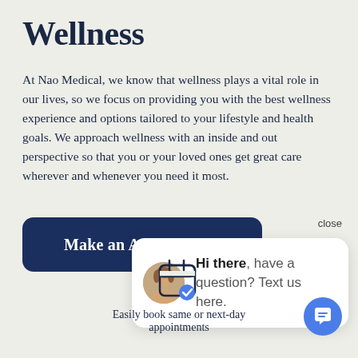Wellness
At Nao Medical, we know that wellness plays a vital role in our lives, so we focus on providing you with the best wellness experience and options tailored to your lifestyle and health goals. We approach wellness with an inside and out perspective so that you or your loved ones get great care wherever and whenever you need it most.
[Figure (screenshot): Dark navy blue 'Make an Appointment' button with rounded corners]
[Figure (screenshot): Chat widget popup with avatar photo of a woman and text: Hi there, have a question? Text us here. A 'close' label appears top right. A blue circular chat FAB is bottom right.]
[Figure (illustration): Calendar icon with a blue checkmark badge]
Easily book same or next-day appointments